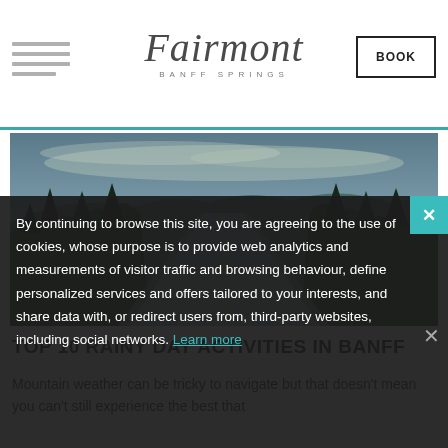Fairmont Banff Springs — BOOK
[Figure (photo): A straight road through dense evergreen forest in the Canadian Rockies, with mountains and cloudy sky in the background]
TOP 10 RAINY DAY ACTIVITIES IN BANFF
Mountain weather can be tricky to navigate but that doesn't mean you can't still experience the best that
By continuing to browse this site, you are agreeing to the use of cookies, whose purpose is to provide web analytics and measurements of visitor traffic and browsing behaviour, define personalized services and offers tailored to your interests, and share data with, or redirect users from, third-party websites, including social networks. Learn more